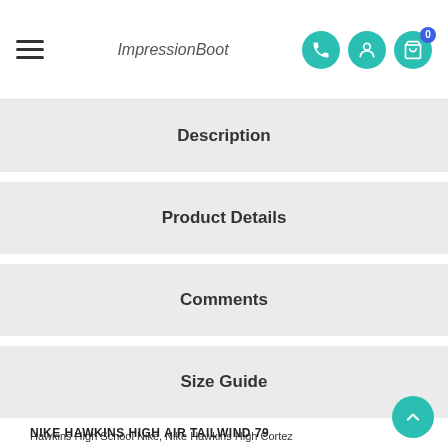ImpressionBoot
Description
Product Details
Comments
Size Guide
Hawkins High School Nike, Nike Hawkins High Cortez
NIKE HAWKINS HIGH AIR TAILWIND 79